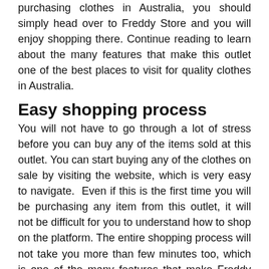purchasing clothes in Australia, you should simply head over to Freddy Store and you will enjoy shopping there. Continue reading to learn about the many features that make this outlet one of the best places to visit for quality clothes in Australia.
Easy shopping process
You will not have to go through a lot of stress before you can buy any of the items sold at this outlet. You can start buying any of the clothes on sale by visiting the website, which is very easy to navigate.  Even if this is the first time you will be purchasing any item from this outlet, it will not be difficult for you to understand how to shop on the platform. The entire shopping process will not take you more than few minutes too, which is one of the many features that make Freddy Store  one of the best places to visit or  Jeggings or other clothes.  If you are confused about the item to buy